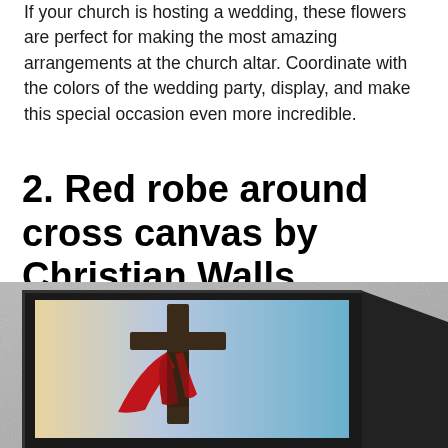If your church is hosting a wedding, these flowers are perfect for making the most amazing arrangements at the church altar. Coordinate with the colors of the wedding party, display, and make this special occasion even more incredible.
2. Red robe around cross canvas by Christian Walls
[Figure (photo): A framed canvas print displayed against a concrete wall, showing a dark wooden cross with a red robe draped around it against a blue and yellow gradient sky background.]